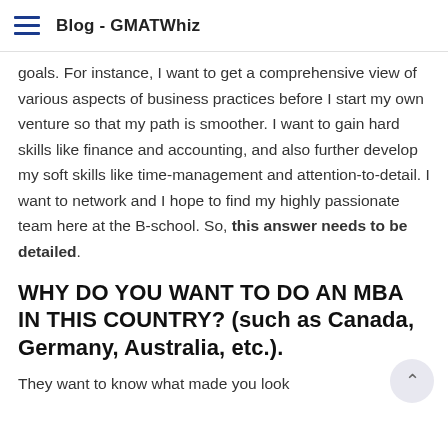Blog - GMATWhiz
goals. For instance, I want to get a comprehensive view of various aspects of business practices before I start my own venture so that my path is smoother. I want to gain hard skills like finance and accounting, and also further develop my soft skills like time-management and attention-to-detail. I want to network and I hope to find my highly passionate team here at the B-school. So, this answer needs to be detailed.
WHY DO YOU WANT TO DO AN MBA IN THIS COUNTRY? (such as Canada, Germany, Australia, etc.).
They want to know what made you look